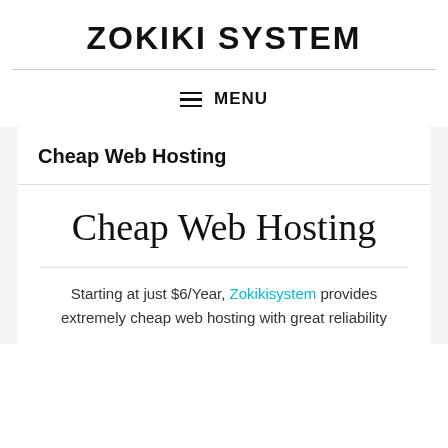ZOKIKI SYSTEM
≡ MENU
Cheap Web Hosting
Cheap Web Hosting
Starting at just $6/Year, Zokikisystem provides extremely cheap web hosting with great reliability